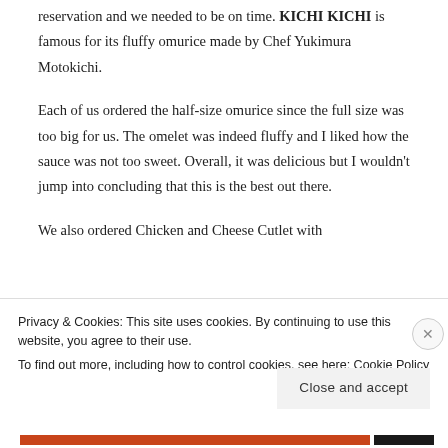reservation and we needed to be on time. KICHI KICHI is famous for its fluffy omurice made by Chef Yukimura Motokichi.
Each of us ordered the half-size omurice since the full size was too big for us. The omelet was indeed fluffy and I liked how the sauce was not too sweet. Overall, it was delicious but I wouldn't jump into concluding that this is the best out there.
We also ordered Chicken and Cheese Cutlet with
Privacy & Cookies: This site uses cookies. By continuing to use this website, you agree to their use.
To find out more, including how to control cookies, see here: Cookie Policy